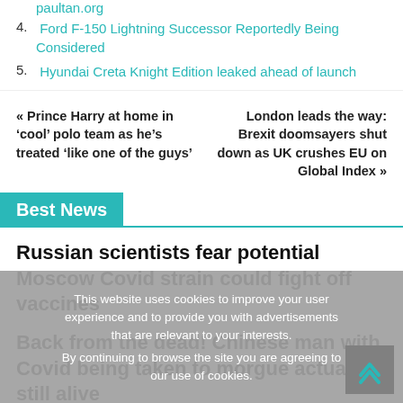paultan.org
4. Ford F-150 Lightning Successor Reportedly Being Considered
5. Hyundai Creta Knight Edition leaked ahead of launch
« Prince Harry at home in ‘cool’ polo team as he’s treated ‘like one of the guys’
London leads the way: Brexit doomsayers shut down as UK crushes EU on Global Index »
Best News
Russian scientists fear potential Moscow Covid strain could fight off vaccines
This website uses cookies to improve your user experience and to provide you with advertisements that are relevant to your interests. By continuing to browse the site you are agreeing to our use of cookies.
Back from the dead! Chinese man with Covid being taken to morgue actually still alive